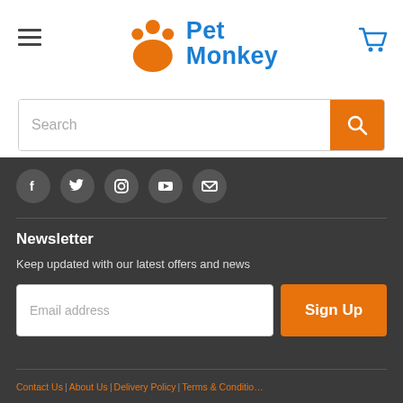[Figure (logo): Pet Monkey logo with orange paw print and blue text reading 'Pet Monkey']
[Figure (other): Search bar with orange search button]
[Figure (other): Social media icons row: Facebook, Twitter, Instagram, YouTube, Email]
Newsletter
Keep updated with our latest offers and news
[Figure (other): Email address input field with orange Sign Up button]
Contact Us | About Us | Delivery Policy | Terms & Conditions |